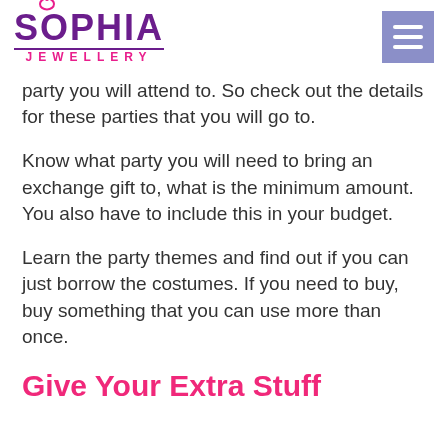SOPHIA JEWELLERY
party you will attend to. So check out the details for these parties that you will go to.
Know what party you will need to bring an exchange gift to, what is the minimum amount. You also have to include this in your budget.
Learn the party themes and find out if you can just borrow the costumes. If you need to buy, buy something that you can use more than once.
Give Your Extra Stuff